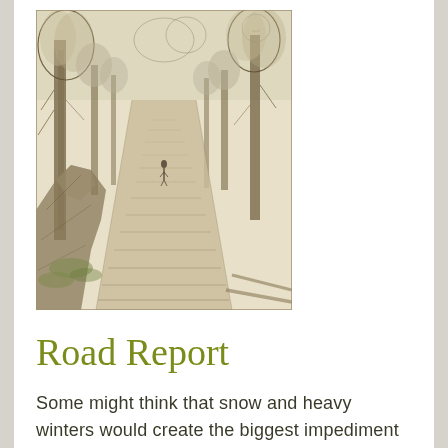[Figure (illustration): A pencil or ink sketch of a road or path lined with tall trees stretching into the distance. A lone figure walks along the road. On the left side is a large rocky outcrop or tree stump. The scene is rendered in a classic 19th-century illustration style on aged paper.]
Road Report
Some might think that snow and heavy winters would create the biggest impediment to